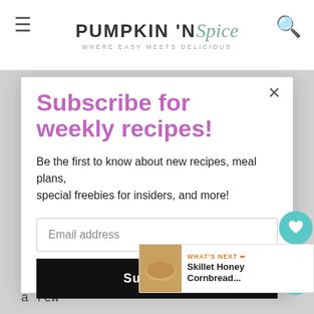PUMPKIN 'N Spice — WHERE EASY MEETS DELICIOUS
Subscribe for weekly recipes!
Be the first to know about new recipes, meal plans, special freebies for insiders, and more!
Email address
Subscribe
cornbread EVER. Absolutely gorgeous photos too, Gayle! I want to steal a few
WHAT'S NEXT → Skillet Honey Cornbread...